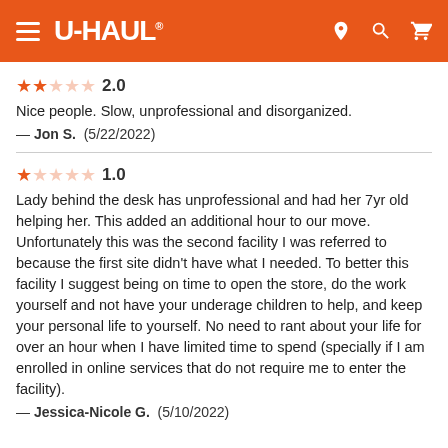U-HAUL
2.0 — Nice people. Slow, unprofessional and disorganized. — Jon S. (5/22/2022)
1.0 — Lady behind the desk has unprofessional and had her 7yr old helping her. This added an additional hour to our move. Unfortunately this was the second facility I was referred to because the first site didn't have what I needed. To better this facility I suggest being on time to open the store, do the work yourself and not have your underage children to help, and keep your personal life to yourself. No need to rant about your life for over an hour when I have limited time to spend (specially if I am enrolled in online services that do not require me to enter the facility). — Jessica-Nicole G. (5/10/2022)